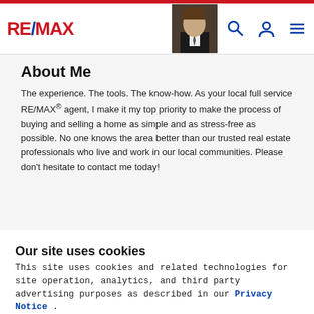RE/MAX [navigation bar with logo, agent photo, search, account, and menu icons]
About Me
The experience. The tools. The know-how. As your local full service RE/MAX® agent, I make it my top priority to make the process of buying and selling a home as simple and as stress-free as possible. No one knows the area better than our trusted real estate professionals who live and work in our local communities. Please don't hesitate to contact me today!
Our site uses cookies
This site uses cookies and related technologies for site operation, analytics, and third party advertising purposes as described in our Privacy Notice .
ACCEPT